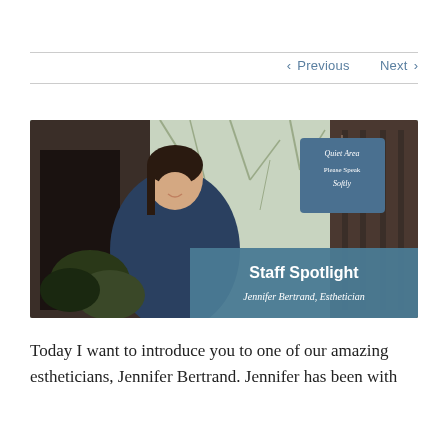< Previous   Next >
[Figure (photo): Staff Spotlight photo of Jennifer Bertrand, Esthetician. A woman in a navy wrap stands outside a building. A sign reads 'Quiet Area Please Speak Softly'. A teal banner overlaid reads 'Staff Spotlight / Jennifer Bertrand, Esthetician'.]
Today I want to introduce you to one of our amazing estheticians, Jennifer Bertrand. Jennifer has been with